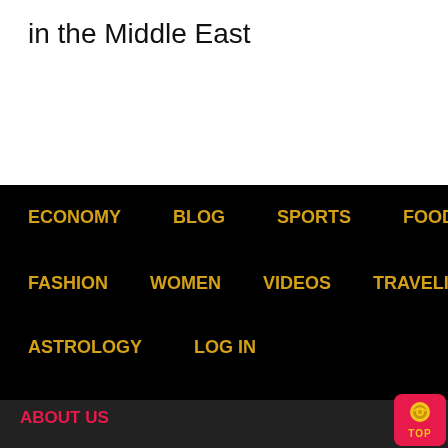in the Middle East
ECONOMY   BLOG   SPORTS   FOOD   FASHION   WOMEN   VIDEOS   TRAVELING   ASTROLOGY   LOG IN
ABOUT US
Castle Journal is an international newspaper with daily electronic edition, received the international license by the United Kingdom number 10675, and accredited by the Egyptian Embassy in London, owned by Abeer Almadaw
Castle Journal expresses on the free and human voice specialized in the diplomatic, cultural and scientific media, it is eager to create a close relationship with the readers